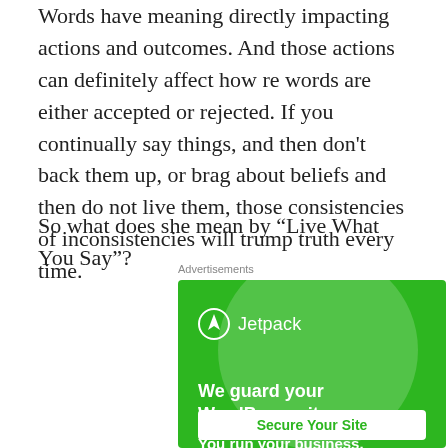Words have meaning directly impacting actions and outcomes. And those actions can definitely affect how re words are either accepted or rejected. If you continually say things, and then don't back them up, or brag about beliefs and then do not live them, those consistencies of inconsistencies will trump truth every time.
So what does she mean by “Live What You Say”?
Advertisements
[Figure (screenshot): Jetpack advertisement: green background with large circle graphic, Jetpack logo and name, text 'We guard your WordPress site. You run your business.' and a 'Secure Your Site' button.]